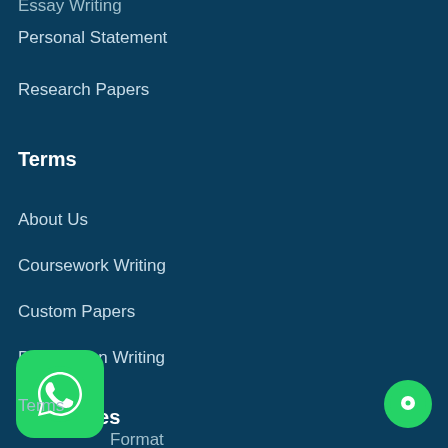Essay Writing
Personal Statement
Research Papers
Terms
About Us
Coursework Writing
Custom Papers
Dissertation Writing
Resources
Terms
Format
Thesis Statement
[Figure (logo): WhatsApp icon button, green rounded square]
[Figure (logo): Green circle chat button]